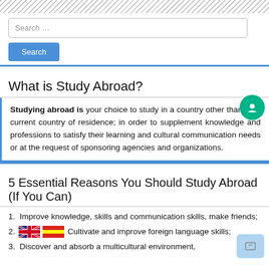[diagonal stripe pattern header]
Search ...
Search
What is Study Abroad?
Studying abroad is your choice to study in a country other than your current country of residence; in order to supplement knowledge and professions to satisfy their learning and cultural communication needs or at the request of sponsoring agencies and organizations.
5 Essential Reasons You Should Study Abroad (If You Can)
1. Improve knowledge, skills and communication skills, make friends;
2. Cultivate and improve foreign language skills;
3. Discover and absorb a multicultural environment,